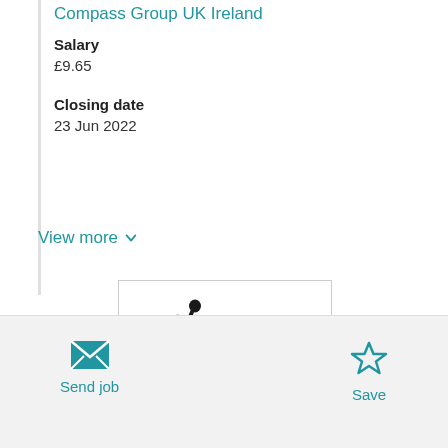Compass Group UK Ireland
Salary
£9.65
Closing date
23 Jun 2022
View more
[Figure (logo): Compass Group logo with stylized running figure and orange swoosh]
Send job
Save